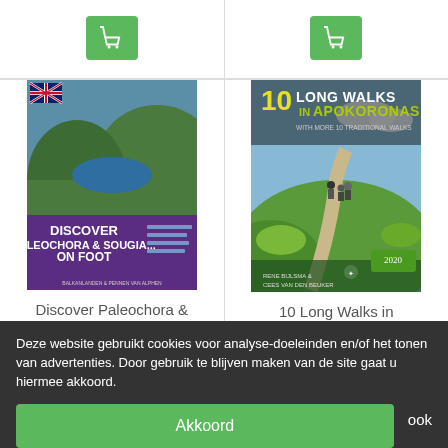[Figure (screenshot): Green shopping cart button (top left column)]
[Figure (screenshot): Green shopping cart button (top right column)]
[Figure (photo): Book cover: Discover Paleochora & Sougia... on Foot, with UK flag, purple band, coastal scenery]
Discover Paleochora & Sougia... on Foot
€ 9,00
[Figure (photo): Book cover: 10 Long Walks in Apokoronas, hikers on trail, yellow/green title text]
10 Long Walks in Apokoronas
€ 12,50
Deze website gebruikt cookies voor analyse-doeleinden en/of het tonen van advertenties. Door gebruik te blijven maken van de site gaat u hiermee akkoord.
Akkoord